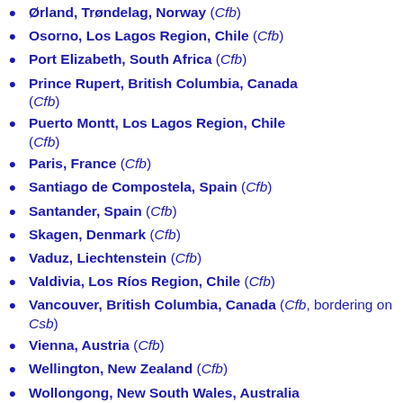Ørland, Trøndelag, Norway (Cfb)
Osorno, Los Lagos Region, Chile (Cfb)
Port Elizabeth, South Africa (Cfb)
Prince Rupert, British Columbia, Canada (Cfb)
Puerto Montt, Los Lagos Region, Chile (Cfb)
Paris, France (Cfb)
Santiago de Compostela, Spain (Cfb)
Santander, Spain (Cfb)
Skagen, Denmark (Cfb)
Vaduz, Liechtenstein (Cfb)
Valdivia, Los Ríos Region, Chile (Cfb)
Vancouver, British Columbia, Canada (Cfb, bordering on Csb)
Vienna, Austria (Cfb)
Wellington, New Zealand (Cfb)
Wollongong, New South Wales, Australia (Cfb, bordering on Cfa)
Zagreb, Croatia (Cfb, bordering on Dfb)
Zonguldak, Turkey (Cfb, bordering on ...)